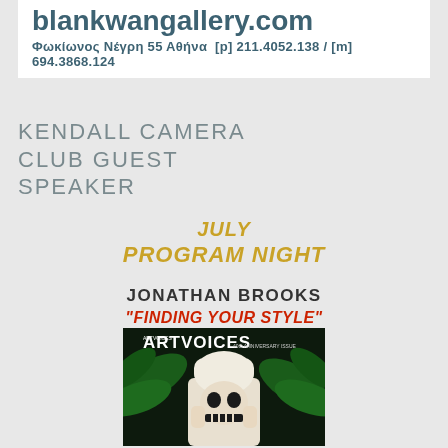[Figure (other): Gallery website banner with URL blankwangallery.com and address Φωκίωνος Νέγρη 55 Αθήνα [p] 211.4052.138 / [m] 694.3868.124]
KENDALL CAMERA CLUB GUEST SPEAKER
JULY
PROGRAM NIGHT
JONATHAN BROOKS
"FINDING YOUR STYLE"
[Figure (photo): Magazine cover of ArtVoices showing a person in white robe and head wrap holding a skull mask in front of their face, with tropical leaves in background. Text reads ARTVOICES anniversary issue.]